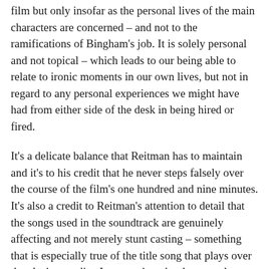film but only insofar as the personal lives of the main characters are concerned – and not to the ramifications of Bingham's job. It is solely personal and not topical – which leads to our being able to relate to ironic moments in our own lives, but not in regard to any personal experiences we might have had from either side of the desk in being hired or fired.
It's a delicate balance that Reitman has to maintain and it's to his credit that he never steps falsely over the course of the film's one hundred and nine minutes. It's also a credit to Reitman's attention to detail that the songs used in the soundtrack are genuinely affecting and not merely stunt casting – something that is especially true of the title song that plays over the closing credits. It was written by the recently downsized Kevin Renick, who wrote it for the film – and it's played as it was presented to Reitman.
It would not surprise me in the least if Up in the Air cleaned up at the Golden Globes® and the Oscars® – it's just that good…